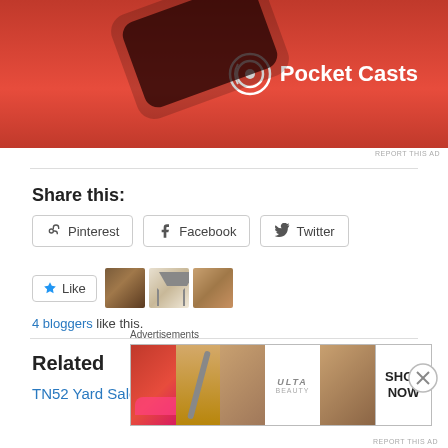[Figure (photo): Pocket Casts advertisement banner with red background and logo]
REPORT THIS AD
Share this:
Pinterest
Facebook
Twitter
[Figure (other): Like button with star icon and three blogger avatar thumbnails]
4 bloggers like this.
Related
TN52 Yard Sale Booty
Advertisements
[Figure (photo): Ulta Beauty advertisement banner with makeup imagery and SHOP NOW text]